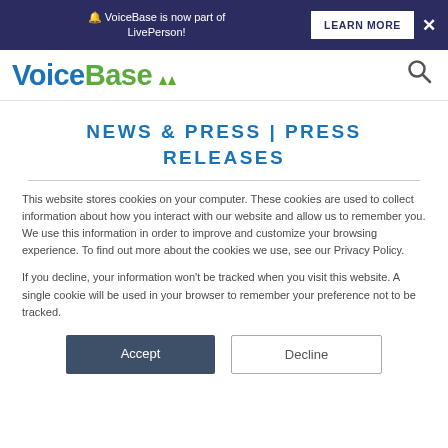🔔 VoiceBase is now part of LivePerson! LEARN MORE ×
[Figure (logo): VoiceBase logo with green and blue text and green triangle decorations, plus a search icon]
NEWS & PRESS | PRESS RELEASES
This website stores cookies on your computer. These cookies are used to collect information about how you interact with our website and allow us to remember you. We use this information in order to improve and customize your browsing experience. To find out more about the cookies we use, see our Privacy Policy.
If you decline, your information won't be tracked when you visit this website. A single cookie will be used in your browser to remember your preference not to be tracked.
Accept   Decline